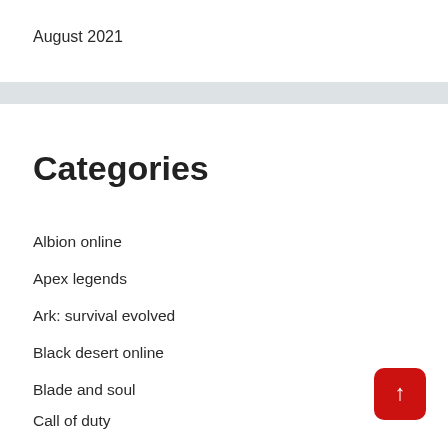August 2021
Categories
Albion online
Apex legends
Ark: survival evolved
Black desert online
Blade and soul
Call of duty
Candy crush soda saga